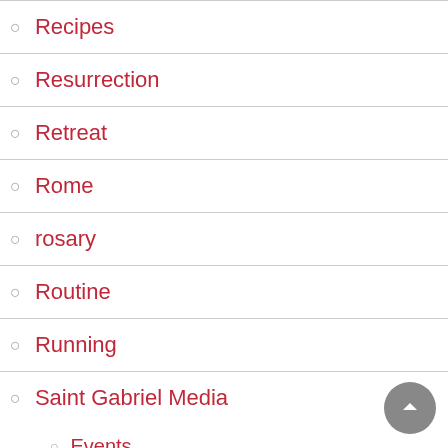Recipes
Resurrection
Retreat
Rome
rosary
Routine
Running
Saint Gabriel Media
Events
Scriptures
School